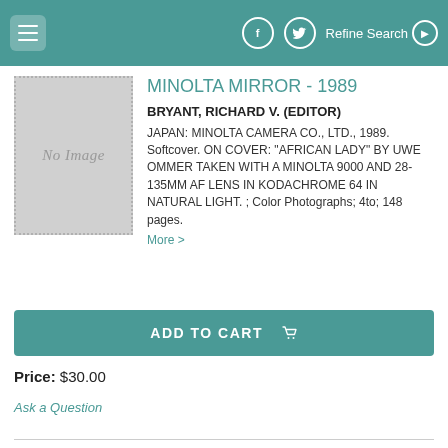≡  [Facebook] [Twitter]  Refine Search ▶
[Figure (illustration): No Image placeholder box with dotted border]
MINOLTA MIRROR - 1989
BRYANT, RICHARD V. (EDITOR)
JAPAN: MINOLTA CAMERA CO., LTD., 1989. Softcover. ON COVER: "AFRICAN LADY" BY UWE OMMER TAKEN WITH A MINOLTA 9000 AND 28-135MM AF LENS IN KODACHROME 64 IN NATURAL LIGHT. ; Color Photographs; 4to; 148 pages.
More >
ADD TO CART 🛒
Price: $30.00
Ask a Question